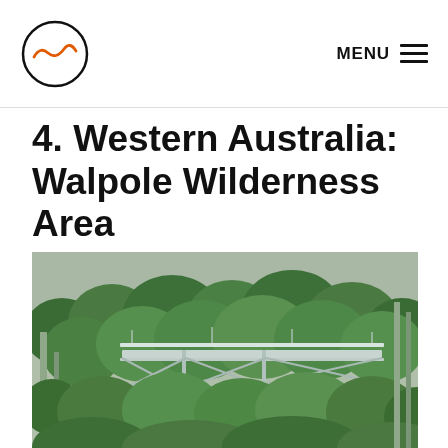MENU
4. Western Australia: Walpole Wilderness Area
[Figure (photo): Aerial view of a metal treetop walkway bridge structure elevated above a dense green forest canopy in Walpole Wilderness Area, Western Australia]